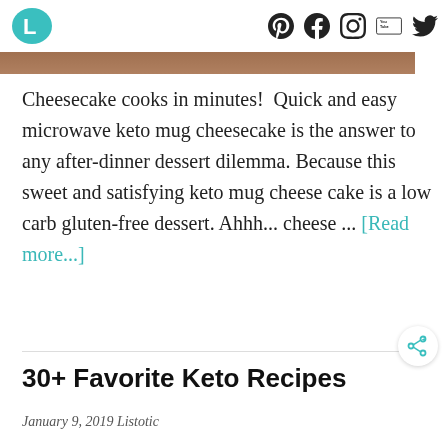L [logo] | Pinterest | Facebook | Instagram | YouTube | Twitter
[Figure (photo): Partial image of a cheesecake dessert, cropped at the top]
Cheesecake cooks in minutes!  Quick and easy microwave keto mug cheesecake is the answer to any after-dinner dessert dilemma. Because this sweet and satisfying keto mug cheese cake is a low carb gluten-free dessert. Ahhh... cheese ... [Read more...]
30+ Favorite Keto Recipes
January 9, 2019 Listotic